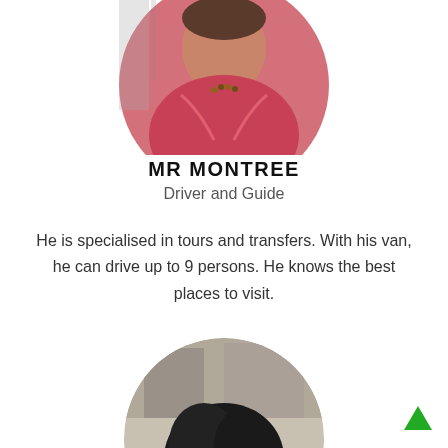[Figure (photo): Circular profile photo of Mr Montree wearing a red/pink shirt with a beaded necklace, partial face visible]
MR MONTREE
Driver and Guide
He is specialised in tours and transfers. With his van, he can drive up to 9 persons. He knows the best places to visit.
[Figure (photo): Circular profile photo of a second person (partial, showing top of head/hair), black and white or muted tones]
[Figure (other): Green upward-pointing triangle arrow button in bottom-right corner]